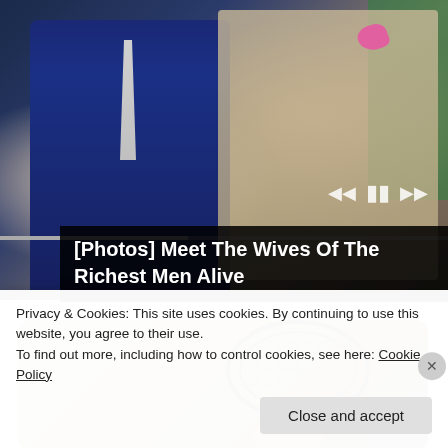[Figure (photo): A man in a navy suit with a light tie and a woman in a lace dress with a pink accessory, seated together, with media player controls and a progress bar overlay]
[Photos] Meet The Wives Of The Richest Men Alive
[Figure (photo): A person holding a tennis racket, cropped view showing hands and racket]
Privacy & Cookies: This site uses cookies. By continuing to use this website, you agree to their use.
To find out more, including how to control cookies, see here: Cookie Policy
Close and accept